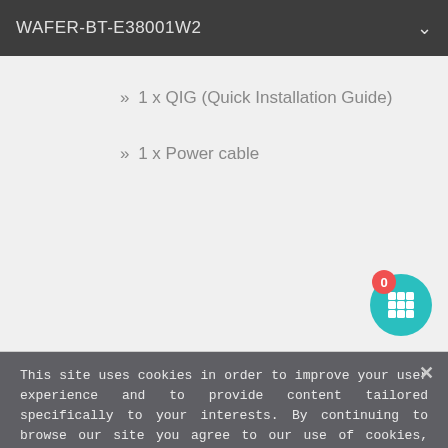WAFER-BT-E38001W2
» 1 x QIG (Quick Installation Guide)
» 1 x Power cable
[Figure (screenshot): Teal circular FAB button with a 3x3 grid of white squares icon, and a red badge showing '0']
This site uses cookies in order to improve your user experience and to provide content tailored specifically to your interests. By continuing to browse our site you agree to our use of cookies, Data Privacy Notice and Terms of Use.
Accept